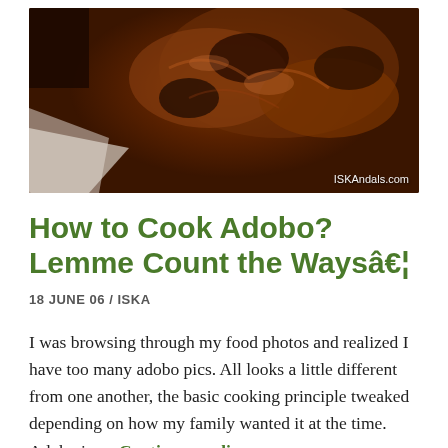[Figure (photo): Close-up photo of dark braised adobo meat on a white plate, with ISKAndals.com watermark in the bottom right corner]
How to Cook Adobo? Lemme Count the Waysâ€¦
18 JUNE 06 / ISKA
I was browsing through my food photos and realized I have too many adobo pics. All looks a little different from one another, the basic cooking principle tweaked depending on how my family wanted it at the time. Adobo is … Continue reading
PORK, POULTRY
1 COMMENTS